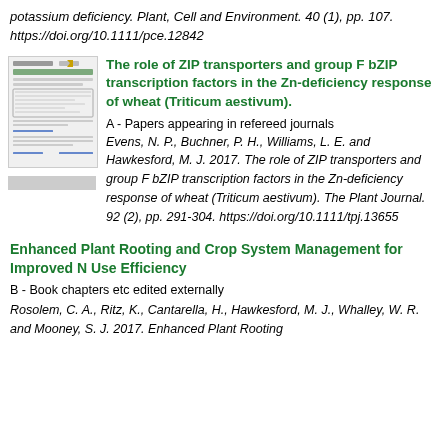potassium deficiency. Plant, Cell and Environment. 40 (1), pp. 107. https://doi.org/10.1111/pce.12842
[Figure (screenshot): Thumbnail image of a scientific article page showing text and a figure]
The role of ZIP transporters and group F bZIP transcription factors in the Zn-deficiency response of wheat (Triticum aestivum).
A - Papers appearing in refereed journals
Evens, N. P., Buchner, P. H., Williams, L. E. and Hawkesford, M. J. 2017. The role of ZIP transporters and group F bZIP transcription factors in the Zn-deficiency response of wheat (Triticum aestivum). The Plant Journal. 92 (2), pp. 291-304. https://doi.org/10.1111/tpj.13655
Enhanced Plant Rooting and Crop System Management for Improved N Use Efficiency
B - Book chapters etc edited externally
Rosolem, C. A., Ritz, K., Cantarella, H., Hawkesford, M. J., Whalley, W. R. and Mooney, S. J. 2017. Enhanced Plant Rooting